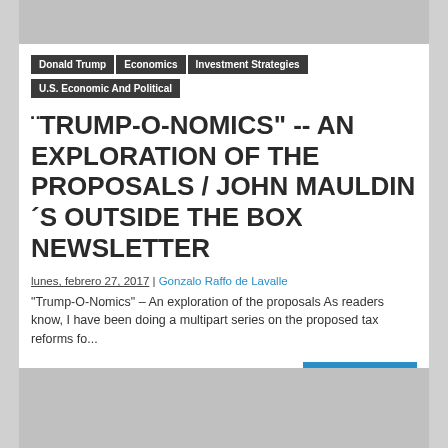[Figure (other): Gray placeholder banner at top]
Donald Trump
Economics
Investment Strategies
U.S. Economic And Political
¨TRUMP-O-NOMICS" -- AN EXPLORATION OF THE PROPOSALS / JOHN MAULDIN´S OUTSIDE THE BOX NEWSLETTER
lunes, febrero 27, 2017 | Gonzalo Raffo de Lavalle
"Trump-O-Nomics" – An exploration of the proposals As readers know, I have been doing a multipart series on the proposed tax reforms fo...
Read more »
[Figure (other): Gray placeholder banner at bottom]